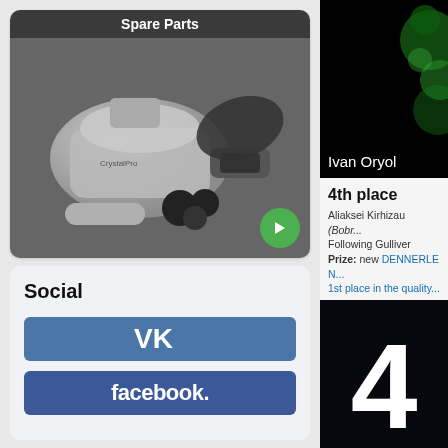[Figure (photo): Spare Parts product card showing disassembled vacuum cleaner parts (CrystalPro branded) on dark background with green arrow button. Header reads 'Spare Parts'.]
Social
[Figure (logo): VK social network button - blue rounded rectangle with white VK logo]
[Figure (logo): Facebook button - dark blue rounded rectangle with white 'facebook.' text]
[Figure (photo): Dark photo with green bokeh lights on right side, 'Ivan Oryol' name overlay at bottom]
Ivan Oryol
4th place
Aliaksei Kirhizau (Bobr... Following Gulliver Prize: new DENNERLE N... 1st place in the quality...
[Figure (photo): Dark/black image with large white number '4' centered]